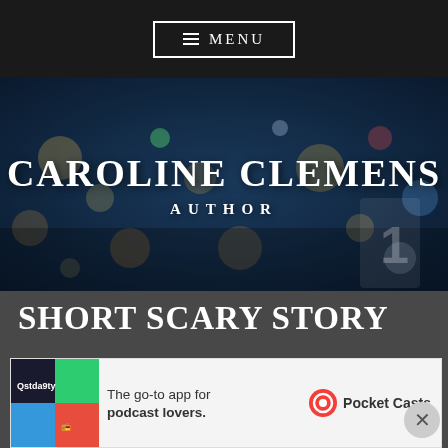≡ MENU
[Figure (photo): Blurred bokeh city lights at night, dark blue tones, serving as hero background image with 'CAROLINE CLEMENS AUTHOR' text overlay]
CAROLINE CLEMENS
AUTHOR
SHORT SCARY STORY
Posted on October 28, 2015 by Caroline Clemens
[Figure (screenshot): Advertisement banner: Pocket Casts app ad reading 'The go-to app for podcast lovers.' with colorful logo and Pocket Casts branding]